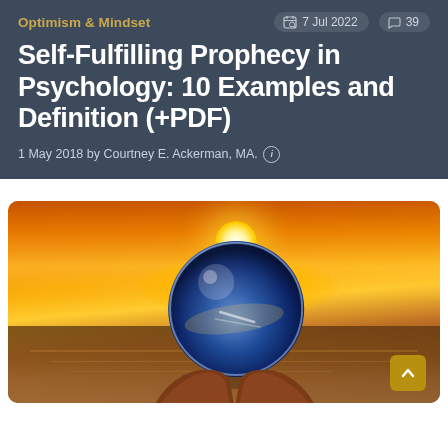Optimism & Mindset
7 Jul 2022   39
Self-Fulfilling Prophecy in Psychology: 10 Examples and Definition (+PDF)
1 May 2018 by Courtney E. Ackerman, MA.
[Figure (photo): Hands holding a crystal ball reflecting a blue ocean and cloudy sky, against a warm golden sunset background over water]